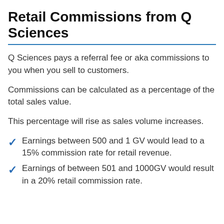Retail Commissions from Q Sciences
Q Sciences pays a referral fee or aka commissions to you when you sell to customers.
Commissions can be calculated as a percentage of the total sales value.
This percentage will rise as sales volume increases.
Earnings between 500 and 1 GV would lead to a 15% commission rate for retail revenue.
Earnings of between 501 and 1000GV would result in a 20% retail commission rate.